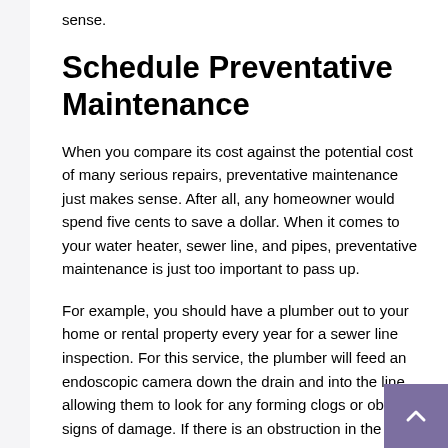sense.
Schedule Preventative Maintenance
When you compare its cost against the potential cost of many serious repairs, preventative maintenance just makes sense. After all, any homeowner would spend five cents to save a dollar. When it comes to your water heater, sewer line, and pipes, preventative maintenance is just too important to pass up.
For example, you should have a plumber out to your home or rental property every year for a sewer line inspection. For this service, the plumber will feed an endoscopic camera down the drain and into the line, allowing them to look for any forming clogs or obvious signs of damage. If there is an obstruction in the line or